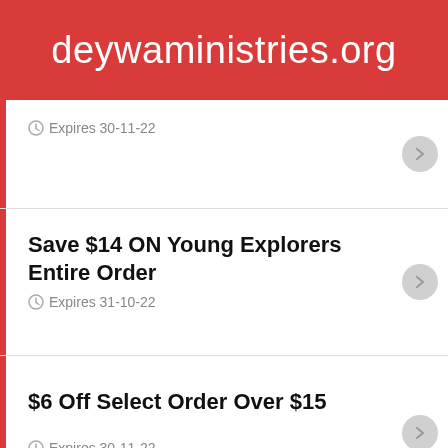deywaministries.org
Expires 30-11-22
Save $14 ON Young Explorers Entire Order
Expires 31-10-22
$6 Off Select Order Over $15
Expires 30-11-22
Saving 10% Off At Young